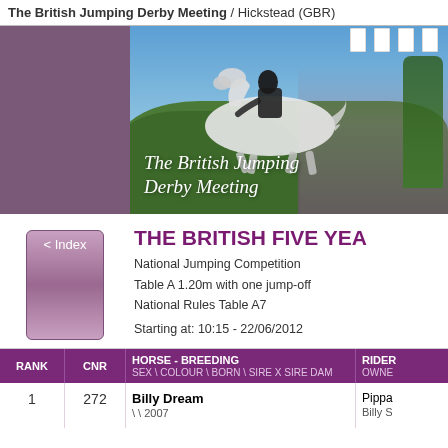The British Jumping Derby Meeting / Hickstead (GBR)
[Figure (photo): Hero photo of a horse and rider jumping at The British Jumping Derby Meeting at Hickstead, with crowds and flags visible. Script text overlay reads 'The British Jumping Derby Meeting'.]
THE BRITISH FIVE YEA
National Jumping Competition
Table A 1.20m with one jump-off
National Rules Table A7
Starting at: 10:15 - 22/06/2012
| RANK | CNR | HORSE - BREEDING
SEX \ COLOUR \ BORN \ SIRE X SIRE DAM | RIDER
OWNER |
| --- | --- | --- | --- |
| 1 | 272 | Billy Dream
\ \ 2007 | Pippa
Billy S |